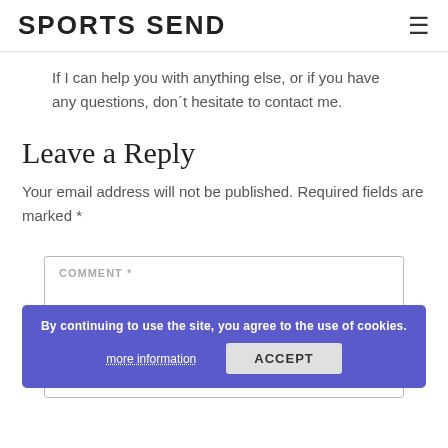SPORTS SEND
If I can help you with anything else, or if you have any questions, donʼt hesitate to contact me.
Leave a Reply
Your email address will not be published. Required fields are marked *
COMMENT *
By continuing to use the site, you agree to the use of cookies.
more information   ACCEPT